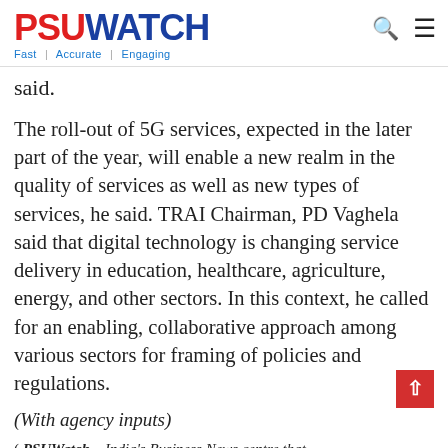PSUWATCH — Fast | Accurate | Engaging
said.
The roll-out of 5G services, expected in the later part of the year, will enable a new realm in the quality of services as well as new types of services, he said. TRAI Chairman, PD Vaghela said that digital technology is changing service delivery in education, healthcare, agriculture, energy, and other sectors. In this context, he called for an enabling, collaborative approach among various sectors for framing of policies and regulations.
(With agency inputs)
( PSUWatch – India's Business News centre that